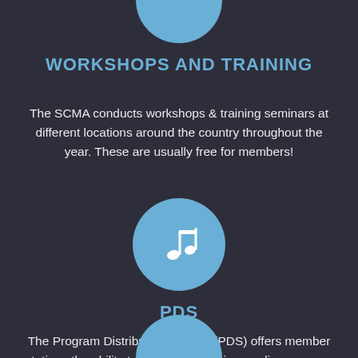[Figure (illustration): Partial blue circle icon at top of page (cropped)]
WORKSHOPS AND TRAINING
The SCMA conducts workshops & training seminars at different locations around the country throughout the year. These are usually free for members!
[Figure (illustration): Blue circle with white music note icon]
PDS
The Program Distribution System (PDS) offers member stations the ability to access/use various radio programs and segments for broadcast at your radio station free!
[Figure (illustration): Partial blue circle icon at bottom of page (cropped)]